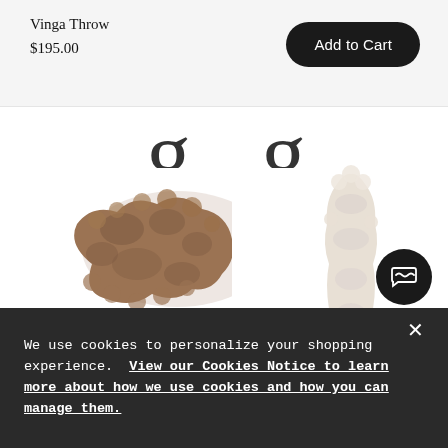Vinga Throw
$195.00
Add to Cart
[Figure (screenshot): Partial large decorative text visible in background, partially cropped, appears to be a heading from lower content area.]
[Figure (photo): Brown/tan fluffy sheepskin throw rug on white background (left product)]
[Figure (photo): White/cream fluffy sheepskin throw rug on white background (right product)]
SHEEPSKIN THROW
SHEEPSKIN THRO
We use cookies to personalize your shopping experience. View our Cookies Notice to learn more about how we use cookies and how you can manage them.